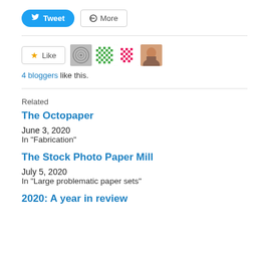[Figure (screenshot): Tweet and More sharing buttons at the top of a blog post]
[Figure (screenshot): Like button with star icon and 4 blogger avatar thumbnails]
4 bloggers like this.
Related
The Octopaper
June 3, 2020
In "Fabrication"
The Stock Photo Paper Mill
July 5, 2020
In "Large problematic paper sets"
2020: A year in review